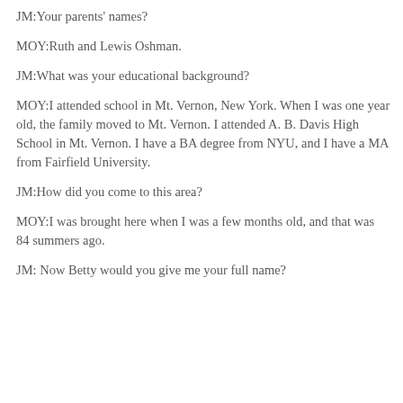JM:Your parents' names?
MOY:Ruth and Lewis Oshman.
JM:What was your educational background?
MOY:I attended school in Mt. Vernon, New York. When I was one year old, the family moved to Mt. Vernon. I attended A. B. Davis High School in Mt. Vernon. I have a BA degree from NYU, and I have a MA from Fairfield University.
JM:How did you come to this area?
MOY:I was brought here when I was a few months old, and that was 84 summers ago.
JM: Now Betty would you give me your full name?